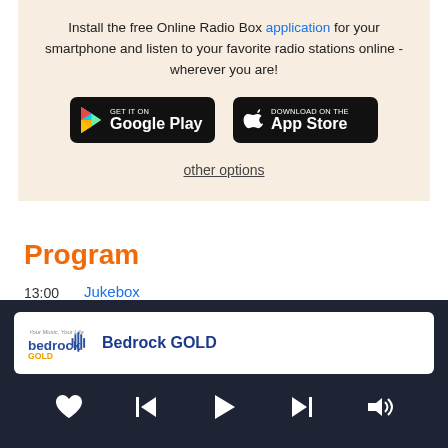Install the free Online Radio Box application for your smartphone and listen to your favorite radio stations online - wherever you are!
[Figure (screenshot): Google Play store badge - black rounded rectangle with Google Play triangle icon and text GET IT ON Google Play]
[Figure (screenshot): Apple App Store badge - black rounded rectangle with Apple logo and text Download on the App Store]
other options
Program
13:00   Jukebox
Bedrock GOLD
[Figure (logo): Bedrock GOLD radio station logo with waveform and orange GOLD text]
Bedrock GOLD